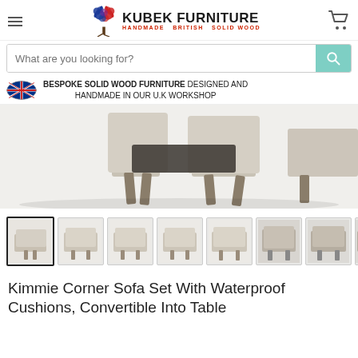[Figure (logo): Kubek Furniture logo with tree icon and text 'KUBEK FURNITURE - HANDMADE BRITISH SOLID WOOD']
What are you looking for?
BESPOKE SOLID WOOD FURNITURE DESIGNED AND HANDMADE IN OUR U.K WORKSHOP
[Figure (photo): Close-up of corner sofa set legs and base structure in light grey/beige fabric]
[Figure (photo): Thumbnail gallery showing 8 views of the Kimmie Corner Sofa Set]
Kimmie Corner Sofa Set With Waterproof Cushions, Convertible Into Table